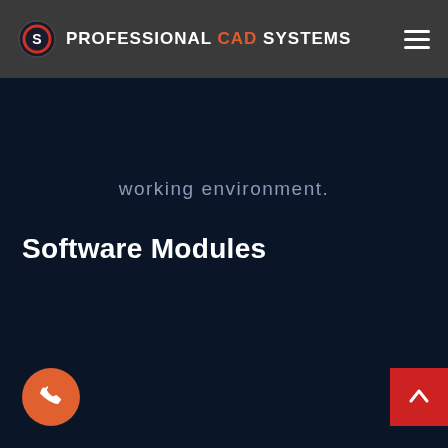PROFESSIONAL CAD SYSTEMS
working environment.
Software Modules
[Figure (other): Orange circular phone call button in bottom left corner]
[Figure (other): Red square back-to-top arrow button in bottom right corner]